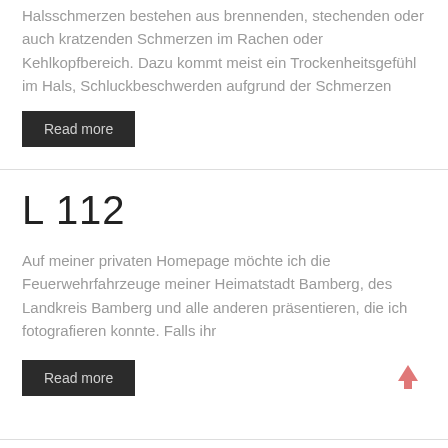Halsschmerzen bestehen aus brennenden, stechenden oder auch kratzenden Schmerzen im Rachen oder Kehlkopfbereich. Dazu kommt meist ein Trockenheitsgefühl im Hals, Schluckbeschwerden aufgrund der Schmerzen
Read more
L 112
Auf meiner privaten Homepage möchte ich die Feuerwehrfahrzeuge meiner Heimatstadt Bamberg, des Landkreis Bamberg und alle anderen präsentieren, die ich fotografieren konnte. Falls ihr
Read more